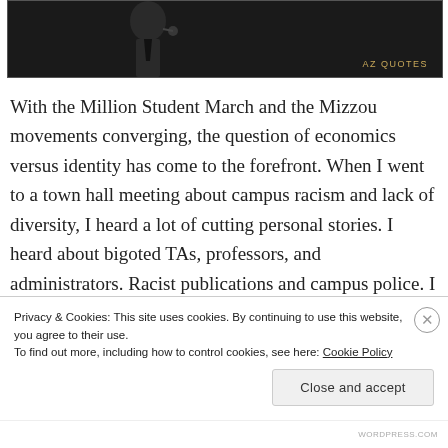[Figure (photo): Black and white photo of a man speaking into a microphone, with an AZ Quotes watermark in the lower right corner.]
With the Million Student March and the Mizzou movements converging, the question of economics versus identity has come to the forefront. When I went to a town hall meeting about campus racism and lack of diversity, I heard a lot of cutting personal stories. I heard about bigoted TAs, professors, and administrators. Racist publications and campus police. I did not hear about the system that benefits from racism and utilizes it– capitalism. The intersectionality
Privacy & Cookies: This site uses cookies. By continuing to use this website, you agree to their use.
To find out more, including how to control cookies, see here: Cookie Policy
Close and accept